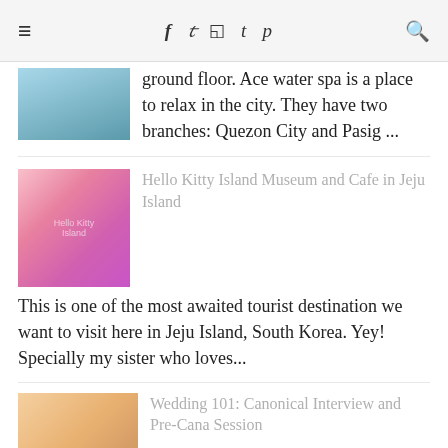≡  f  t  ✦  t  p  🔍
ground floor. Ace water spa is a place to relax in the city. They have two branches: Quezon City and Pasig ...
Hello Kitty Island Museum and Cafe in Jeju Island
This is one of the most awaited tourist destination we want to visit here in Jeju Island, South Korea. Yey! Specially my sister who loves...
Wedding 101: Canonical Interview and Pre-Cana Session